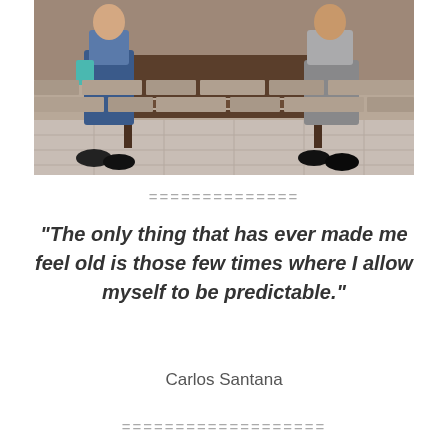[Figure (photo): Two people sitting on a bench outdoors, stone wall in background, tiled pavement. Left person wearing jeans and dark shoes, right person in grey trousers and dark shoes.]
==============
“The only thing that has ever made me feel old is those few times where I allow myself to be predictable.”
Carlos Santana
===================